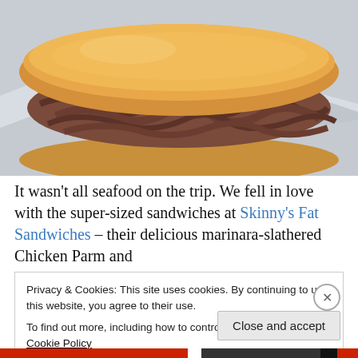[Figure (photo): Close-up photo of a large sub sandwich with roast beef/meat filling on a roll, wrapped in foil/wax paper]
It wasn't all seafood on the trip. We fell in love with the super-sized sandwiches at Skinny's Fat Sandwiches – their delicious marinara-slathered Chicken Parm and
Privacy & Cookies: This site uses cookies. By continuing to use this website, you agree to their use.
To find out more, including how to control cookies, see here: Cookie Policy